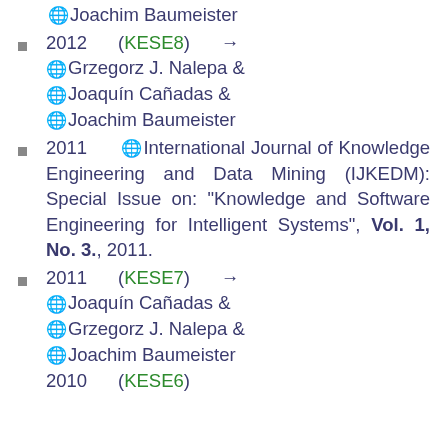🌐 Joachim Baumeister
2012 (KESE8) → 🌐 Grzegorz J. Nalepa & 🌐 Joaquín Cañadas & 🌐 Joachim Baumeister
2011 🌐 International Journal of Knowledge Engineering and Data Mining (IJKEDM): Special Issue on: "Knowledge and Software Engineering for Intelligent Systems", Vol. 1, No. 3., 2011.
2011 (KESE7) → 🌐 Joaquín Cañadas & 🌐 Grzegorz J. Nalepa & 🌐 Joachim Baumeister 2010 (KESE6)